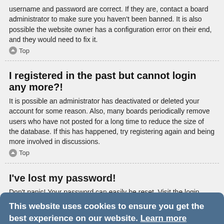username and password are correct. If they are, contact a board administrator to make sure you haven't been banned. It is also possible the website owner has a configuration error on their end, and they would need to fix it.
Top
I registered in the past but cannot login any more?!
It is possible an administrator has deactivated or deleted your account for some reason. Also, many boards periodically remove users who have not posted for a long time to reduce the size of the database. If this has happened, try registering again and being more involved in discussions.
Top
I've lost my password!
Don't panic! Your password can easily be reset. Visit the login page and click I forgot my password. Follow the instructions and you should be able to log in again shortly.
However, if you are not able to reset your password, contact a board administrator.
Top
This website uses cookies to ensure you get the best experience on our website. Learn more
Got it!